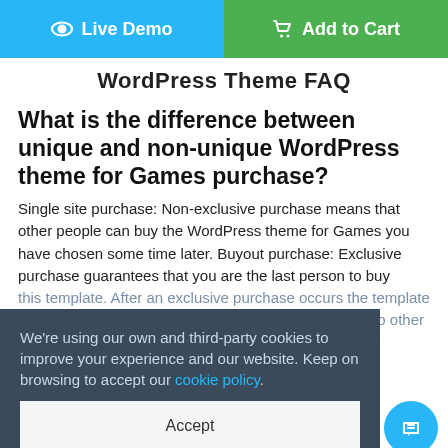[Figure (other): Two buttons side by side: blue 'Live Demo' button with eye icon on the left, and green 'Add to Cart' button with cart icon on the right]
WordPress Theme FAQ
What is the difference between unique and non-unique WordPress theme for Games purchase?
Single site purchase: Non-exclusive purchase means that other people can buy the WordPress theme for Games you have chosen some time later. Buyout purchase: Exclusive purchase guarantees that you are the last person to buy this template. After an exclusive purchase occurs the template is removed from the website and will not be available to other customers again. Only you and people who bought the template before you will own it.
[Figure (other): Cookie consent banner overlay with text: We're using our own and third-party cookies to improve your experience and our website. Keep on browsing to accept our cookie policy. With an Accept button below.]
Can I customize the Games &